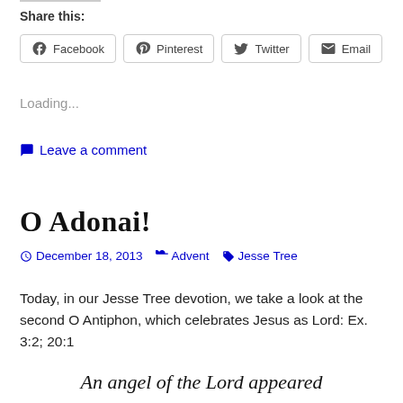Share this:
[Figure (other): Social sharing buttons: Facebook, Pinterest, Twitter, Email]
Loading...
Leave a comment
O Adonai!
December 18, 2013  Advent  Jesse Tree
Today, in our Jesse Tree devotion, we take a look at the second O Antiphon, which celebrates Jesus as Lord: Ex. 3:2; 20:1
An angel of the Lord appeared